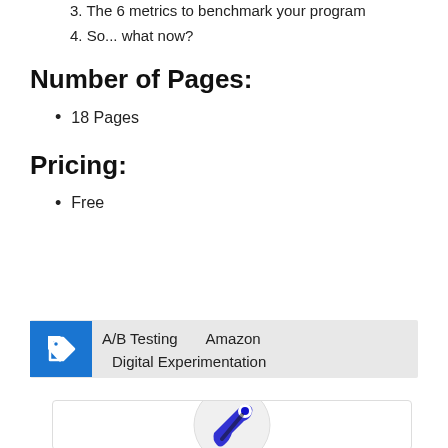3. The 6 metrics to benchmark your program
4. So... what now?
Number of Pages:
18 Pages
Pricing:
Free
A/B Testing   Amazon   Digital Experimentation
[Figure (logo): Circular logo with blue key/tool icon on white background]